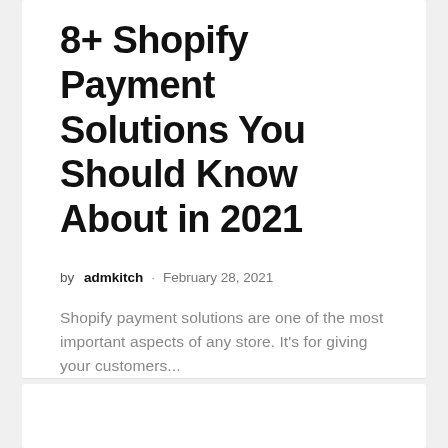8+ Shopify Payment Solutions You Should Know About in 2021
by admkitch · February 28, 2021
Shopify payment solutions are one of the most important aspects of any store. It's for giving your customers...
M — Marketing
[Figure (photo): Partially visible grey image placeholder at the bottom of the second card]